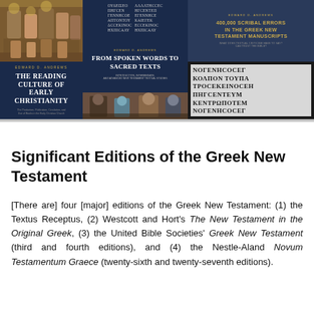[Figure (photo): Three book covers related to early Christianity and Greek New Testament manuscripts displayed side by side: 'The Reading Culture of Early Christianity' on the left, 'From Spoken Words to Sacred Texts' in the center, and '400,000 Scribal Errors in the Greek New Testament Manuscripts' on the right, with ancient Greek manuscript text visible.]
Significant Editions of the Greek New Testament
[There are] four [major] editions of the Greek New Testament: (1) the Textus Receptus, (2) Westcott and Hort's The New Testament in the Original Greek, (3) the United Bible Societies' Greek New Testament (third and fourth editions), and (4) the Nestle-Aland Novum Testamentum Graece (twenty-sixth and twenty-seventh editions).